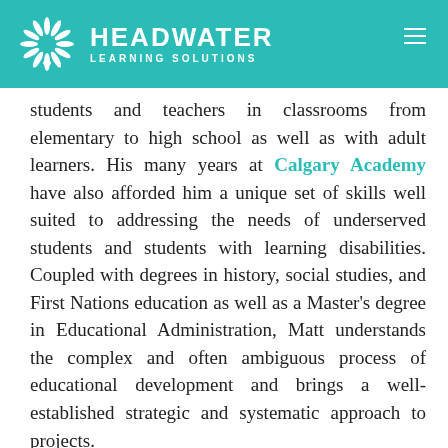HEADWATER LEARNING SOLUTIONS
students and teachers in classrooms from elementary to high school as well as with adult learners. His many years at Calgary Academy have also afforded him a unique set of skills well suited to addressing the needs of underserved students and students with learning disabilities. Coupled with degrees in history, social studies, and First Nations education as well as a Master's degree in Educational Administration, Matt understands the complex and often ambiguous process of educational development and brings a well-established strategic and systematic approach to projects.